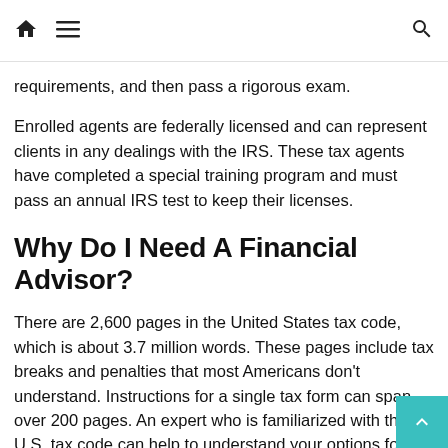🏠 ☰ 🔍
requirements, and then pass a rigorous exam.
Enrolled agents are federally licensed and can represent clients in any dealings with the IRS. These tax agents have completed a special training program and must pass an annual IRS test to keep their licenses.
Why Do I Need A Financial Advisor?
There are 2,600 pages in the United States tax code, which is about 3.7 million words. These pages include tax breaks and penalties that most Americans don't understand. Instructions for a single tax form can span over 200 pages. An expert who is familiarized with the U.S. tax code can help to understand your options for optimizing tax situations.